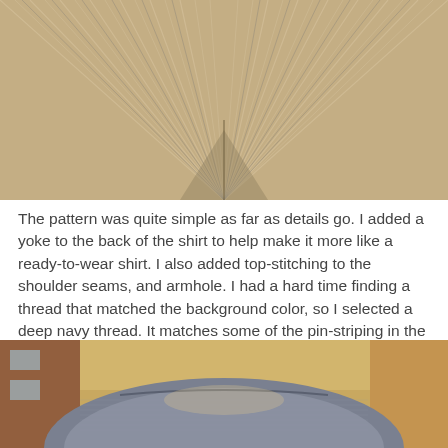[Figure (photo): Close-up photo of striped fabric showing a yoke seam detail with diagonal pin-stripe pattern meeting at a V-shape]
The pattern was quite simple as far as details go. I added a yoke to the back of the shirt to help make it more like a ready-to-wear shirt. I also added top-stitching to the shoulder seams, and armhole. I had a hard time finding a thread that matched the background color, so I selected a deep navy thread. It matches some of the pin-striping in the fabric.
[Figure (photo): Photo of the back of a person wearing a shirt, showing the yoke seam detail at the shoulders, taken outdoors with buildings visible in background]